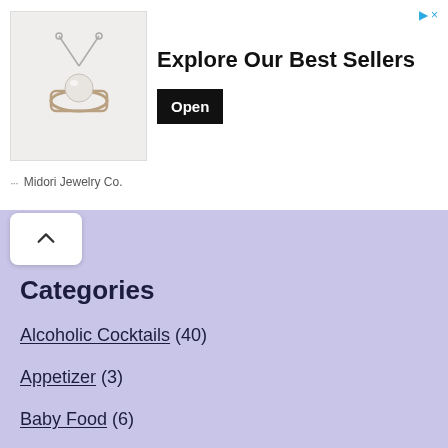[Figure (photo): Advertisement banner for Midori Jewelry Co. showing a pearl ring on a chain. Headline reads 'Explore Our Best Sellers' with an 'Open' button. Ad icons (play and close) in top right.]
Categories
Alcoholic Cocktails (40)
Appetizer (3)
Baby Food (6)